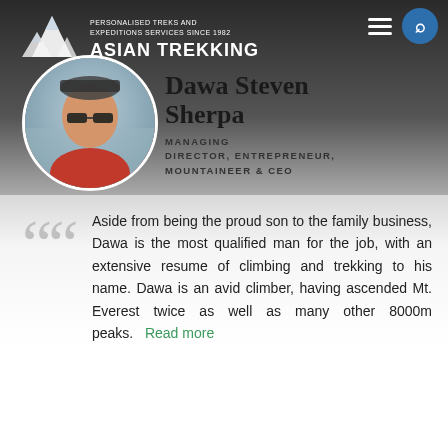[Figure (logo): Asian Trekking logo with mountain icon and tagline: PERSONALISED TREKS AND EXPEDITIONS SERVICES SINCE 1982]
[Figure (photo): Circular profile photo of Dawa Steven Sherpa, a man wearing sunglasses and a red jacket, outdoors in a mountainous setting]
Dawa Steven Sherpa
MANAGING DIRECTOR, ENTREPRENEUR, MOUNTAINEER & CEO
Aside from being the proud son to the family business, Dawa is the most qualified man for the job, with an extensive resume of climbing and trekking to his name. Dawa is an avid climber, having ascended Mt. Everest twice as well as many other 8000m peaks. Read more